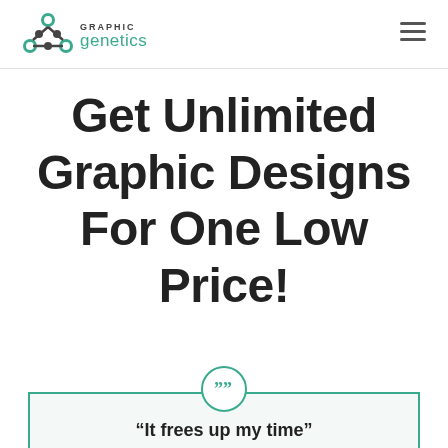Graphic Genetics
Get Unlimited Graphic Designs For One Low Price!
“It frees up my time”